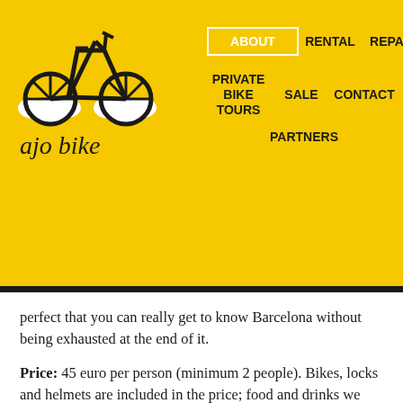[Figure (logo): Ajo Bike logo with bicycle icon and italic text 'ajo bike']
ABOUT | RENTAL | REPAIR | PRIVATE BIKE TOURS | SALE | CONTACT | PARTNERS
perfect that you can really get to know Barcelona without being exhausted at the end of it.
Price: 45 euro per person (minimum 2 people). Bikes, locks and helmets are included in the price; food and drinks we might have during the tour are not included in the price.
For reservations call +34930082298 or send us an email: info@ajobikerentbarcelona.com.
[Figure (infographic): Row of 8 social media icons: Twitter, Facebook, Flickr, Swarm/Foursquare, Google+, Instagram, Skype, Yelp]
English